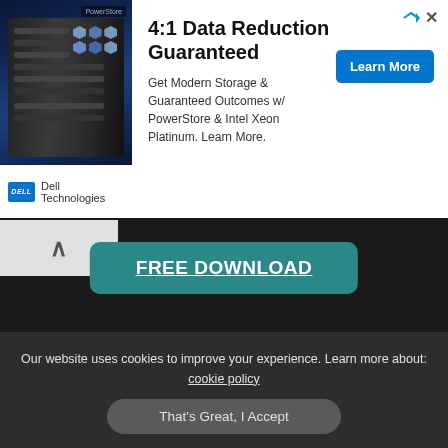[Figure (screenshot): Dell Technologies advertisement banner with server rack image on left, headline '4:1 Data Reduction Guaranteed', body text about PowerStore and Intel Xeon Platinum, and a blue 'Learn More' button]
4:1 Data Reduction Guaranteed
Get Modern Storage & Guaranteed Outcomes w/ PowerStore & Intel Xeon Platinum. Learn More.
[Figure (screenshot): Dark background area with a teal 'FREE DOWNLOAD' button and a collapse/up-arrow button on the left]
FREE DOWNLOAD
Our website uses cookies to improve your experience. Learn more about: cookie policy
That's Great, I Accept